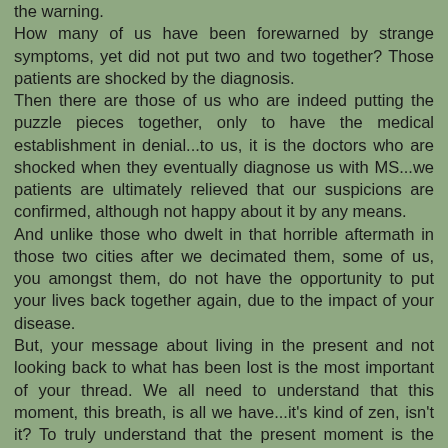the warning. How many of us have been forewarned by strange symptoms, yet did not put two and two together? Those patients are shocked by the diagnosis. Then there are those of us who are indeed putting the puzzle pieces together, only to have the medical establishment in denial...to us, it is the doctors who are shocked when they eventually diagnose us with MS...we patients are ultimately relieved that our suspicions are confirmed, although not happy about it by any means. And unlike those who dwelt in that horrible aftermath in those two cities after we decimated them, some of us, you amongst them, do not have the opportunity to put your lives back together again, due to the impact of your disease. But, your message about living in the present and not looking back to what has been lost is the most important of your thread. We all need to understand that this moment, this breath, is all we have...it's kind of zen, isn't it? To truly understand that the present moment is the ultimate gift, and one that we should be ultimately grateful for, no matter sick or well. Thank you for reminding all of us of this most important fact.